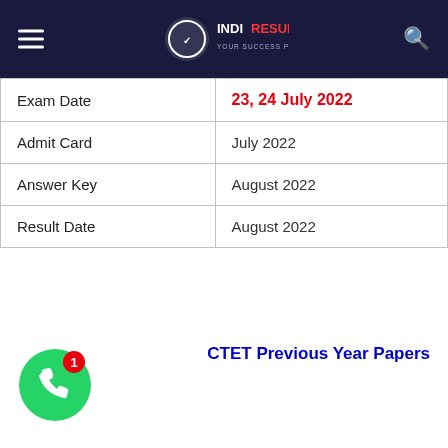IndiResult - Your Success Partner
| Exam Date | 23, 24 July 2022 |
| Admit Card | July 2022 |
| Answer Key | August 2022 |
| Result Date | August 2022 |
CTET Previous Year Papers